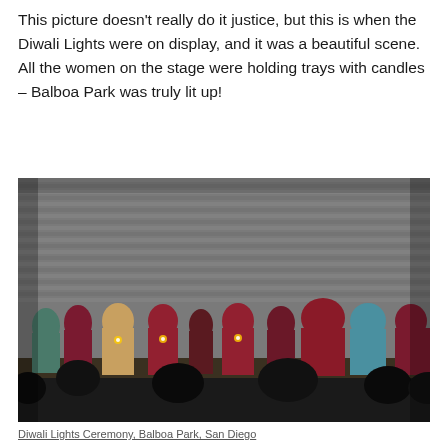This picture doesn't really do it justice, but this is when the Diwali Lights were on display, and it was a beautiful scene. All the women on the stage were holding trays with candles – Balboa Park was truly lit up!
[Figure (photo): Women in colorful saris (mostly red/maroon and some teal) standing on a stage at Balboa Park during a Diwali Lights ceremony, holding trays with candles. The background shows a grey corrugated metal backdrop. Audience silhouettes are visible in the foreground.]
Diwali Lights Ceremony, Balboa Park, San Diego